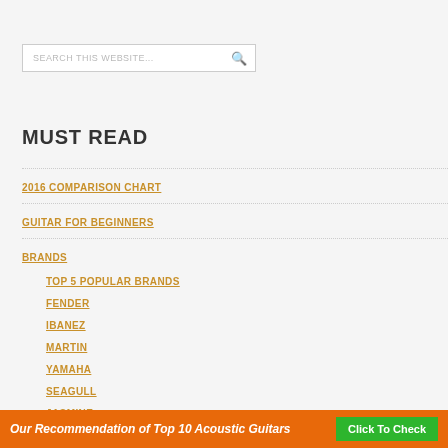SEARCH THIS WEBSITE...
MUST READ
2016 COMPARISON CHART
GUITAR FOR BEGINNERS
BRANDS
TOP 5 POPULAR BRANDS
FENDER
IBANEZ
MARTIN
YAMAHA
SEAGULL
JASMINE
PRODUCT REVIEWS
Our Recommendation of Top 10 Acoustic Guitars   Click To Check